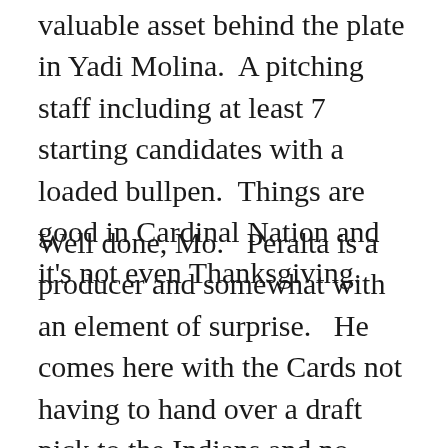valuable asset behind the plate in Yadi Molina.  A pitching staff including at least 7 starting candidates with a loaded bullpen.  Things are good in Cardinal Nation and it's not even Thanksgiving.
Well done, Mo.  Peralta is a producer and somewhat with an element of surprise.  He comes here with the Cards not having to hand over a draft pick to the Indians and no players on their current roster.  Before you cry out about other players or the money, remember what Mozelaik didn't